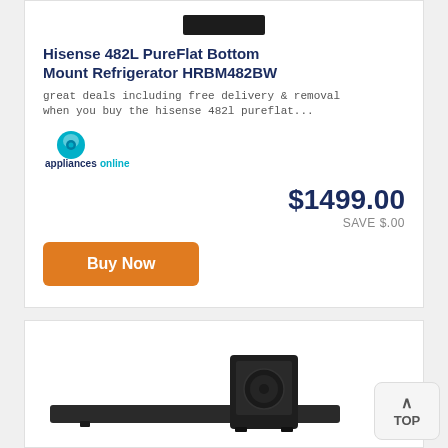[Figure (photo): Black refrigerator top portion visible at top of card]
Hisense 482L PureFlat Bottom Mount Refrigerator HRBM482BW
great deals including free delivery & removal when you buy the hisense 482l pureflat...
[Figure (logo): Appliances Online logo with teal circular icon and blue text]
$1499.00
SAVE $.00
Buy Now
[Figure (photo): Soundbar with subwoofer product image at bottom of page]